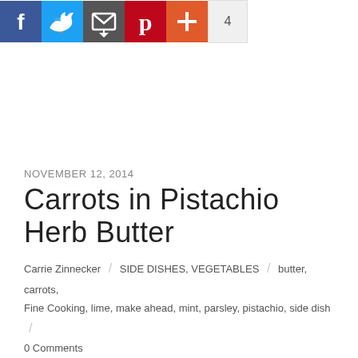[Figure (other): Social media share buttons: Facebook (blue), Twitter (light blue), a mail/share icon (dark grey), Pinterest (red), a plus/more button (red-orange), and a share count badge showing '4']
NOVEMBER 12, 2014
Carrots in Pistachio Herb Butter
Carrie Zinnecker / SIDE DISHES, VEGETABLES / butter, carrots, Fine Cooking, lime, make ahead, mint, parsley, pistachio, side dish /
0 Comments
I whipped this butter up a month ago and after making a batch of these carrots I stashed it in the freezer.  Today I made another batch to serve 2 people, and next week I could use what remains of the butter to serve at least 8.  After making the butter all you have to